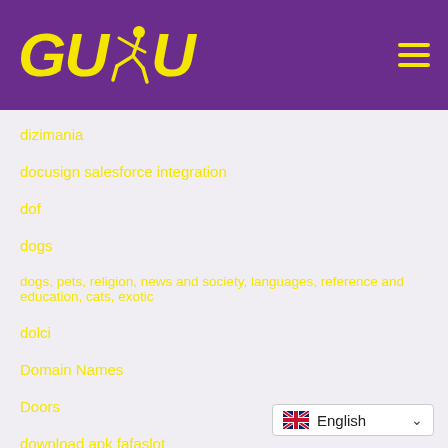[Figure (logo): GUDU logo with yellow text and running figure on purple background, with hamburger menu icon]
dizimania
docusign salesforce integration
dof
dogs
dogs, pets, religion, news and society, languages, reference and education, cats, exotic
dolci
Domain Names
Doors
download apk fafaslot
download apk joker123
download apk vivoslot
[Figure (other): English language selector widget with UK flag]